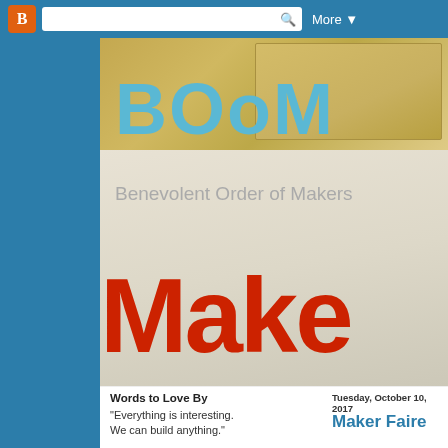Blogger navigation bar with logo, search, and More button
[Figure (photo): Hero banner photo showing wooden boards with 'BOoM' text in blue, 'Benevolent Order of Makers' subtitle in gray, and 'Make' text in large red letters, resembling a maker space signage display]
BOoM
Benevolent Order of Makers
Words to Love By
"Everything is interesting. We can build anything."
Tuesday, October 10, 2017
Maker Faire